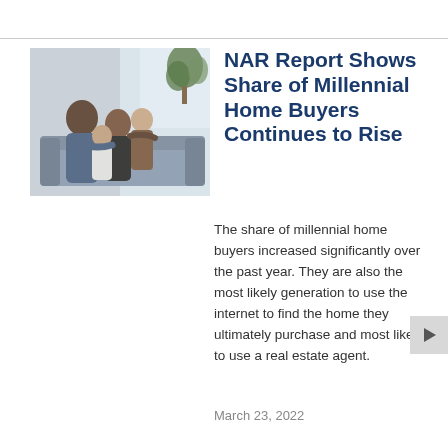[Figure (photo): A family of four sitting together on a couch, smiling. Parents and two children in a bright living room setting.]
NAR Report Shows Share of Millennial Home Buyers Continues to Rise
The share of millennial home buyers increased significantly over the past year. They are also the most likely generation to use the internet to find the home they ultimately purchase and most likely to use a real estate agent.
March 23, 2022